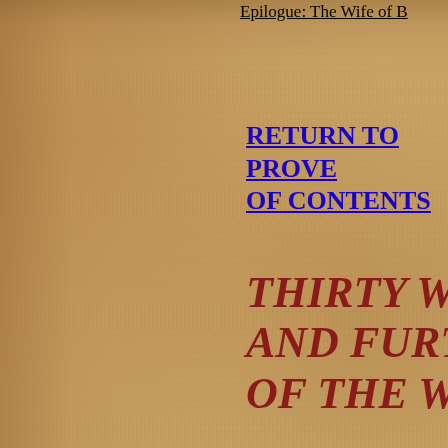Epilogue: The Wife of B[...]
RETURN TO PROVE[...] OF CONTENTS
THIRTY WISE S[...] AND FURTHER [...] OF THE WISE
Saying 1 - Introduction [...]
Saying 2 - Do not explo[...]